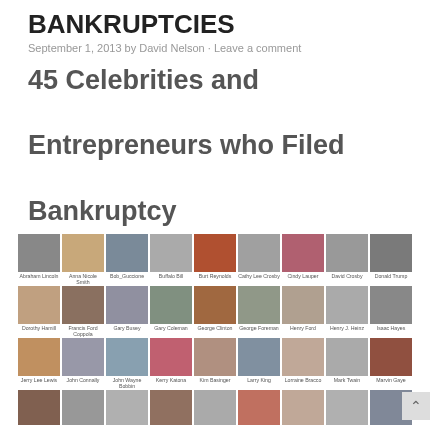BANKRUPTCIES
September 1, 2013 by David Nelson - Leave a comment
45 Celebrities and Entrepreneurs who Filed Bankruptcy
[Figure (photo): Grid of celebrity photos: Row 1: Abraham Lincoln, Anna Nicole Smith, Bob_Guccione, Buffalo Bill, Burt Reynolds, Cathy Lee Crosby, Cindy Lauper, David Crosby, Donald Trump. Row 2: Dorothy Hamill, Francis Ford Coppola, Gary Busey, Gary Coleman, George Clinton, George Foreman, Henry Ford, Henry J. Heinz, Isaac Hayes. Row 3: Jerry Lee Lewis, John Connally, John Wayne Bobbin, Kerry Katona, Kim Basinger, Larry King, Lorraine Bracco, Mark Twain, Marvin Gaye. Row 4 (partial): more celebrities.]